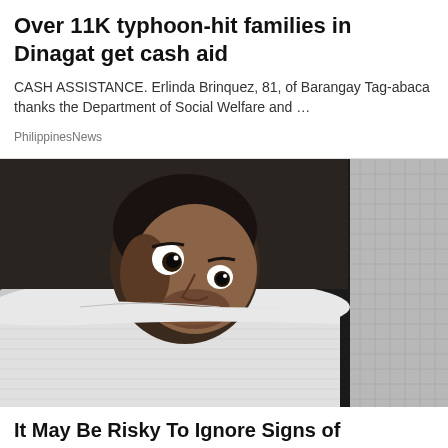Over 11K typhoon-hit families in Dinagat get cash aid
CASH ASSISTANCE. Erlinda Brinquez, 81, of Barangay Tag-abaca thanks the Department of Social Welfare and …
PhilippinesNews
[Figure (photo): A man lying in bed peeking over white blanket/pillow with wide open eyes, looking startled or unable to sleep, grey fabric texture visible on right side]
It May Be Risky To Ignore Signs of Schizophrenia